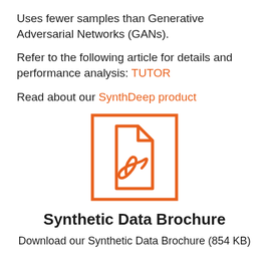Uses fewer samples than Generative Adversarial Networks (GANs).
Refer to the following article for details and performance analysis: TUTOR
Read about our SynthDeep product
[Figure (illustration): Orange-bordered square icon containing a PDF document icon (page with folded corner and a stylized symbol inside), rendered in orange.]
Synthetic Data Brochure
Download our Synthetic Data Brochure (854 KB)